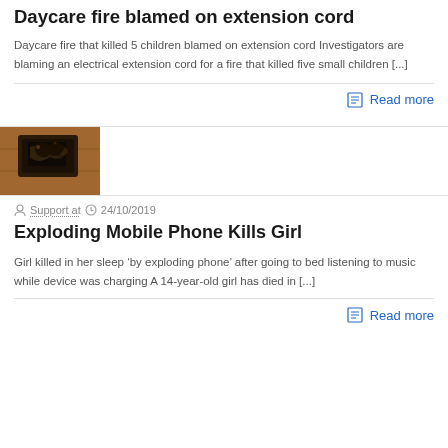Daycare fire blamed on extension cord
Daycare fire that killed 5 children blamed on extension cord Investigators are blaming an electrical extension cord for a fire that killed five small children [...]
Read more
[Figure (photo): A burnt/charred mobile phone on a wooden surface]
Support at  24/10/2019
Exploding Mobile Phone Kills Girl
Girl killed in her sleep ‘by exploding phone’ after going to bed listening to music while device was charging A 14-year-old girl has died in [...]
Read more